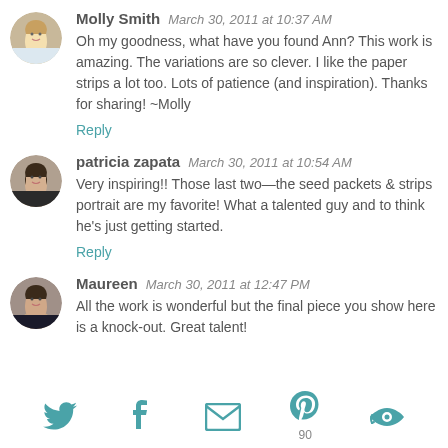Molly Smith  March 30, 2011 at 10:37 AM
Oh my goodness, what have you found Ann? This work is amazing. The variations are so clever. I like the paper strips a lot too. Lots of patience (and inspiration). Thanks for sharing! ~Molly
Reply
patricia zapata  March 30, 2011 at 10:54 AM
Very inspiring!! Those last two—the seed packets & strips portrait are my favorite! What a talented guy and to think he's just getting started.
Reply
Maureen  March 30, 2011 at 12:47 PM
All the work is wonderful but the final piece you show here is a knock-out. Great talent!
[Figure (infographic): Social sharing icons: Twitter bird, Facebook f, envelope/email, Pinterest P with count 90, and a circular arrow icon]